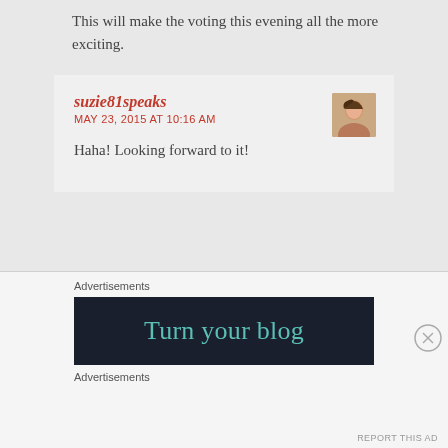This will make the voting this evening all the more exciting.
suzie81speaks
MAY 23, 2015 AT 10:16 AM
Haha! Looking forward to it!
Advertisements
[Figure (screenshot): Dark banner advertisement with teal text reading 'Turn your blog']
Advertisements